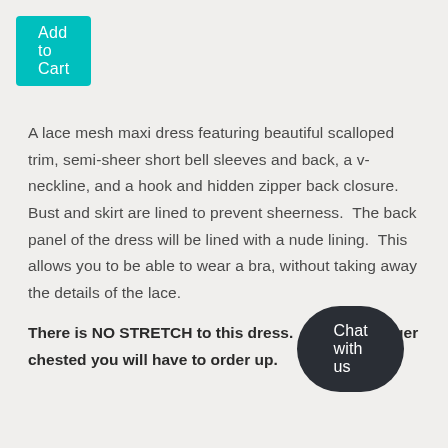[Figure (other): Add to Cart button - teal/cyan colored rectangular button with white text]
A lace mesh maxi dress featuring beautiful scalloped trim, semi-sheer short bell sleeves and back, a v-neckline, and a hook and hidden zipper back closure. Bust and skirt are lined to prevent sheerness.  The back panel of the dress will be lined with a nude lining.  This allows you to be able to wear a bra, without taking away the details of the lace.
There is NO STRETCH to this dress.  If you are larger chested you will have to order up.
[Figure (other): Chat with us button - dark rounded pill-shaped button with white text]